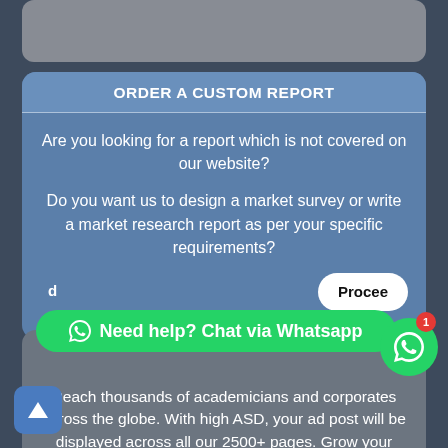[Figure (screenshot): Partial grey card at top of page]
ORDER A CUSTOM REPORT
Are you looking for a report which is not covered on our website?
Do you want us to design a market survey or write a market research report as per your specific requirements?
Proceed
[Figure (screenshot): WhatsApp chat button banner - Need help? Chat via Whatsapp]
Reach thousands of academicians and corporates across the globe. With high ASD, your ad post will be displayed across all our 2500+ pages. Grow your business with effective advertisement!